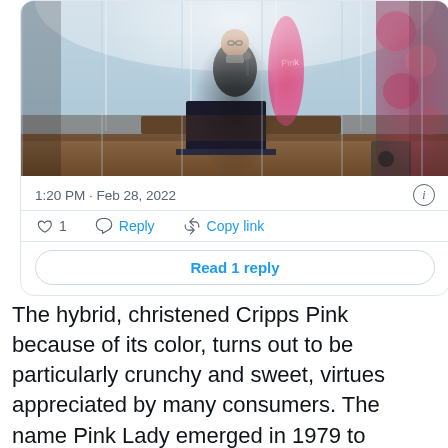[Figure (screenshot): Screenshot of a tweet card showing a photo of a man speaking at a podium with a microphone at an event, with a pink banner and floral display in the background. Below the photo: timestamp '1:20 PM · Feb 28, 2022', an info icon, action buttons (heart/1, Reply, Copy link), and a 'Read 1 reply' button.]
The hybrid, christened Cripps Pink because of its color, turns out to be particularly crunchy and sweet, virtues appreciated by many consumers. The name Pink Lady emerged in 1979 to characterize the most beautiful examples of the line, which quickly penetrated the domestic market (and still holds 45% of the shares in 2020).